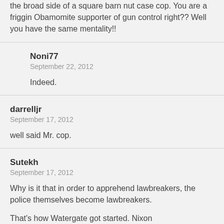the broad side of a square barn nut case cop. You are a friggin Obamomite supporter of gun control right?? Well you have the same mentality!!
Noni77
September 22, 2012

Indeed.
darrelljr
September 17, 2012

well said Mr. cop.
Sutekh
September 17, 2012

Why is it that in order to apprehend lawbreakers, the police themselves become lawbreakers.

That's how Watergate got started. Nixon